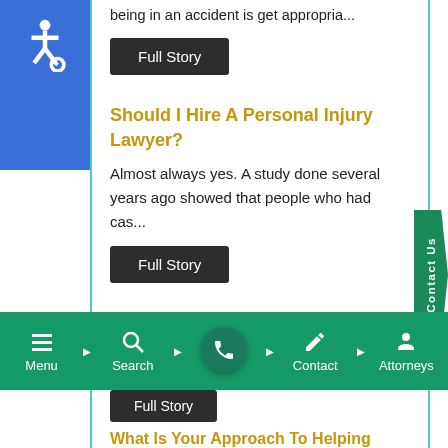[Figure (illustration): Accessibility icon (white wheelchair symbol on blue background) in top-left corner]
being in an accident is get appropria...
Full Story
Should I Hire A Personal Injury Lawyer?
Almost always yes. A study done several years ago showed that people who had cas...
Full Story
What Do I Bring When I Am Going To Meet With An Injury Attorney
You want to bring everything you have -
Menu   Search   Contact   Attorneys
Full Story
What Is Your Approach To Helping Clients?
[Figure (illustration): Green Contact Us tab on right side]
[Figure (illustration): Green bottom navigation bar with Menu, Search, phone call button, Contact, Attorneys]